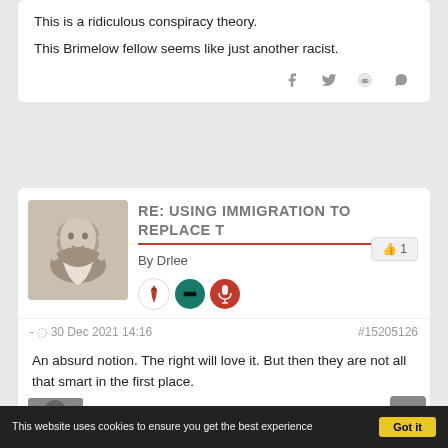This is a ridiculous conspiracy theory.

This Brimelow fellow seems like just another racist.
RE: USING IMMIGRATION TO REPLACE T
By Drlee
- 30 Dec 2021 14:16    #15205126
An absurd notion. The right will love it. But then they are not all that smart in the first place.
RE: USING IMMIGRATION TO REPLACE T
This website uses cookies to ensure you get the best experience